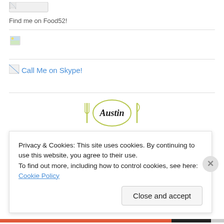[Figure (logo): Broken/partial image at top (logo badge)]
Find me on Food52!
[Figure (photo): Broken image placeholder (small icon, landscape with sun)]
Call Me on Skype!
[Figure (logo): Partial Austin restaurant logo with fork and knife graphics]
Privacy & Cookies: This site uses cookies. By continuing to use this website, you agree to their use.
To find out more, including how to control cookies, see here: Cookie Policy
Close and accept